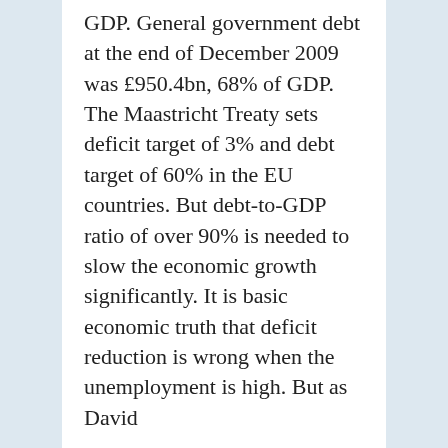GDP. General government debt at the end of December 2009 was £950.4bn, 68% of GDP. The Maastricht Treaty sets deficit target of 3% and debt target of 60% in the EU countries. But debt-to-GDP ratio of over 90% is needed to slow the economic growth significantly. It is basic economic truth that deficit reduction is wrong when the unemployment is high. But as David